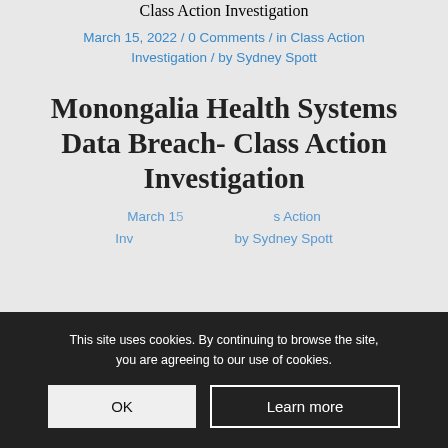Class Action Investigation
March 15, 2022 / 0 Comments / in Class Action Investigation / by Sydney Spott
Monongalia Health Systems Data Breach- Class Action Investigation
This site uses cookies. By continuing to browse the site, you are agreeing to our use of cookies.